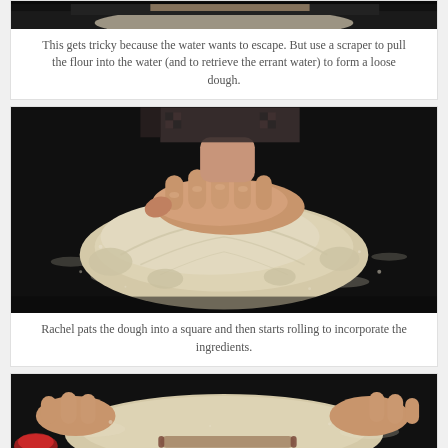[Figure (photo): Hands working dough on a dark surface, pulling flour into water with a scraper]
This gets tricky because the water wants to escape. But use a scraper to pull the flour into the water (and to retrieve the errant water) to form a loose dough.
[Figure (photo): Hand pressing down on a mound of loose flour/dough on a dark surface]
Rachel pats the dough into a square and then starts rolling to incorporate the ingredients.
[Figure (photo): Two hands rolling/pressing dough on a dark surface with flour scattered around]